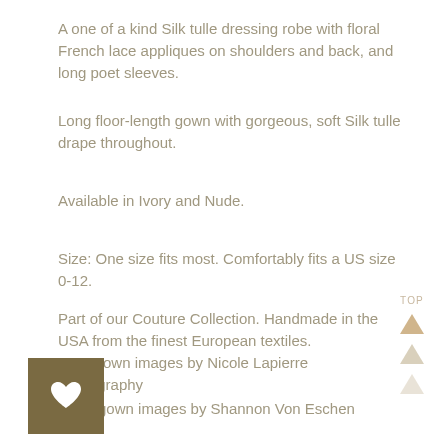A one of a kind Silk tulle dressing robe with floral French lace appliques on shoulders and back, and long poet sleeves.
Long floor-length gown with gorgeous, soft Silk tulle drape throughout.
Available in Ivory and Nude.
Size: One size fits most. Comfortably fits a US size 0-12.
Part of our Couture Collection. Handmade in the USA from the finest European textiles.
Ivory gown images by Nicole Lapierre Photography
Nude gown images by Shannon Von Eschen
[Figure (illustration): TOP label with three triangles (upward arrows) stacked vertically in gold/tan tones on the right side]
[Figure (illustration): Dark tan/olive square button with a white heart icon]